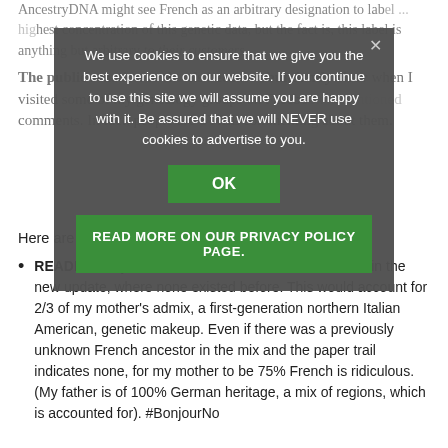AncestryDNA might see French as an arbitrary designation to label [...] highest concentration of this genetic data, but the fact is, this label is anything but arbitrary to their customers.
We use cookies to ensure that we give you the best experience on our website. If you continue to use this site we will assume you are happy with it. Be assured that we will NEVER use cookies to advertise to you.
OK
READ MORE ON OUR PRIVACY POLICY PAGE.
The public reaction to the labels became abundantly clear when I visited some of my genealogy groups on Facebook [...] mentioned comments. In fact, people are STILL commenting about them. Here are a few representative highlights:
READER 1: I just realized that I received 37% French in the new update, where none existed before. This would account for 2/3 of my mother's admix, a first-generation northern Italian American, genetic makeup. Even if there was a previously unknown French ancestor in the mix and the paper trail indicates none, for my mother to be 75% French is ridiculous. (My father is of 100% German heritage, a mix of regions, which is accounted for). #BonjourNo